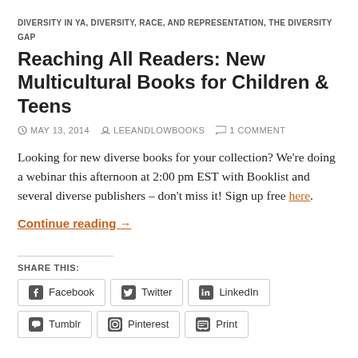DIVERSITY IN YA, DIVERSITY, RACE, AND REPRESENTATION, THE DIVERSITY GAP
Reaching All Readers: New Multicultural Books for Children & Teens
MAY 13, 2014  LEEANDLOWBOOKS  1 COMMENT
Looking for new diverse books for your collection? We're doing a webinar this afternoon at 2:00 pm EST with Booklist and several diverse publishers – don't miss it! Sign up free here.
Continue reading →
SHARE THIS:
Facebook  Twitter  LinkedIn  Tumblr  Pinterest  Print